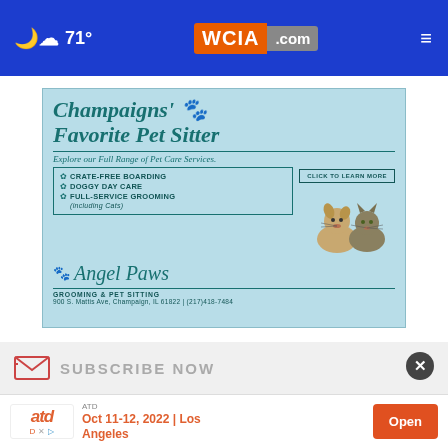🌙☁ 71° | WCIA.com
[Figure (infographic): Angel Paws pet sitting advertisement. Champaigns' Favorite Pet Sitter. Explore our Full Range of Pet Care Services. Services listed: Crate-Free Boarding, Doggy Day Care, Full-Service Grooming (including Cats). Click to Learn More button. Angel Paws Grooming & Pet Sitting. 900 S. Mattis Ave, Champaign, IL 61822 | (217)418-7484. Features image of a dog and cat.]
SUBSCRIBE NOW
ATD Oct 11-12, 2022 | Los Angeles